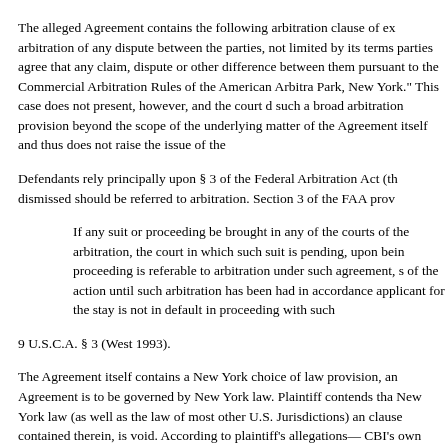The alleged Agreement contains the following arbitration clause of ex arbitration of any dispute between the parties, not limited by its terms parties agree that any claim, dispute or other difference between them pursuant to the Commercial Arbitration Rules of the American Arbitra Park, New York." This case does not present, however, and the court d such a broad arbitration provision beyond the scope of the underlying matter of the Agreement itself and thus does not raise the issue of the
Defendants rely principally upon § 3 of the Federal Arbitration Act (th dismissed should be referred to arbitration. Section 3 of the FAA prov
If any suit or proceeding be brought in any of the courts of the arbitration, the court in which such suit is pending, upon bein proceeding is referable to arbitration under such agreement, s of the action until such arbitration has been had in accordance applicant for the stay is not in default in proceeding with such
9 U.S.C.A. § 3 (West 1993).
The Agreement itself contains a New York choice of law provision, an Agreement is to be governed by New York law. Plaintiff contends tha New York law (as well as the law of most other U.S. Jurisdictions) an clause contained therein, is void. According to plaintiff's allegations— CBI's own literature—the core of CBI's marketing program consists o become "affiliates" or "members" of CBI. New affiliates, in turn, sell members. Greater profits accrue to affiliates who obtain more "downl the business success of creation of CBI, but also the success of CBI